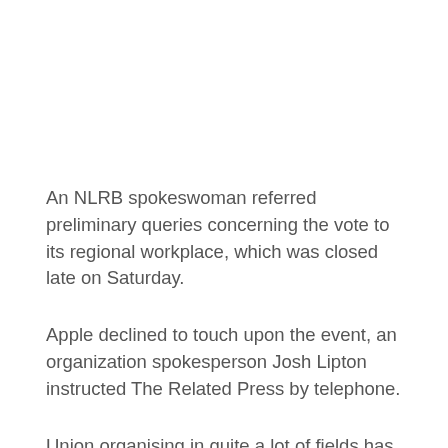An NLRB spokeswoman referred preliminary queries concerning the vote to its regional workplace, which was closed late on Saturday.
Apple declined to touch upon the event, an organization spokesperson Josh Lipton instructed The Related Press by telephone.
Union organising in quite a lot of fields has gained momentum not too long ago after many years of decline